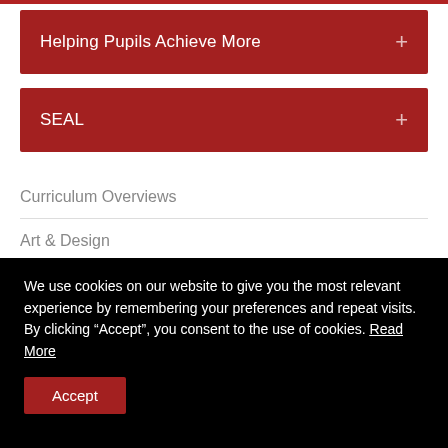Helping Pupils Achieve More
SEAL
Curriculum Overviews
Art & Design
Computing
We use cookies on our website to give you the most relevant experience by remembering your preferences and repeat visits. By clicking “Accept”, you consent to the use of cookies. Read More
Accept